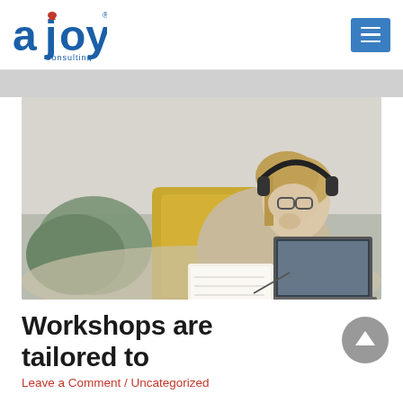ajoy Consulting
[Figure (photo): Woman with headphones sitting on a couch, writing in a notebook with a laptop open in front of her. Green and yellow pillows in background.]
Workshops are tailored to
Leave a Comment / Uncategorized